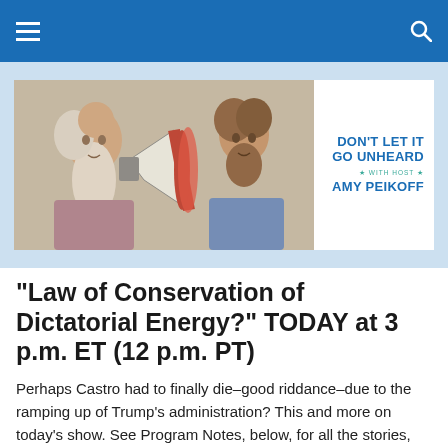Navigation bar with hamburger menu and search icon
[Figure (illustration): Banner image for 'Don't Let It Go Unheard with host Amy Peikoff' podcast. Left side shows a classical painting of two bearded Greek philosophers, one speaking into a megaphone. Right side shows white panel with teal/blue text: DON'T LET IT GO UNHEARD ★ WITH HOST ★ AMY PEIKOFF.]
“Law of Conservation of Dictatorial Energy?” TODAY at 3 p.m. ET (12 p.m. PT)
Perhaps Castro had to finally die–good riddance–due to the ramping up of Trump’s administration? This and more on today’s show. See Program Notes, below, for all the stories, etc., I plan to discuss.